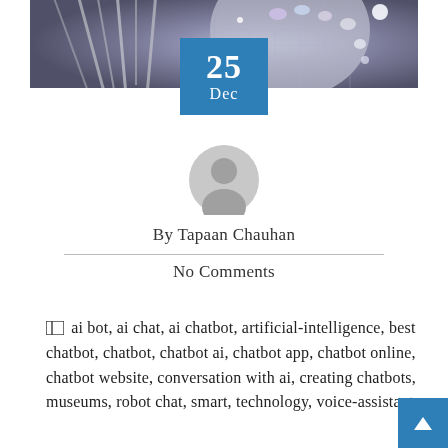[Figure (photo): Hero banner photo showing disco/mirror balls with sparkling silver and pastel colors]
25 Dec
[Figure (illustration): Generic user avatar icon - grey circle with silhouette of a person]
By Tapaan Chauhan
No Comments
ai bot, ai chat, ai chatbot, artificial-intelligence, best chatbot, chatbot, chatbot ai, chatbot app, chatbot online, chatbot website, conversation with ai, creating chatbots, museums, robot chat, smart, technology, voice-assistant